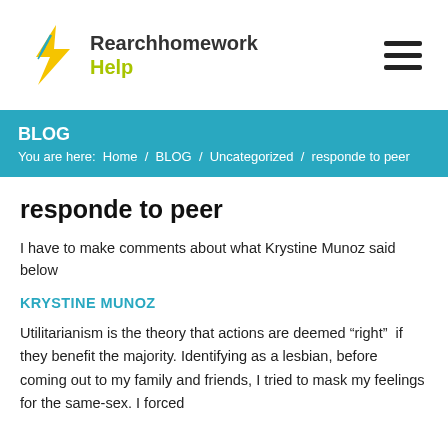[Figure (logo): Rearchhomework Help logo with lightning bolt icon in yellow/teal and text]
BLOG
You are here: Home / BLOG / Uncategorized / responde to peer
responde to peer
I have to make comments about what Krystine Munoz said below
KRYSTINE MUNOZ
Utilitarianism is the theory that actions are deemed “right” if they benefit the majority. Identifying as a lesbian, before coming out to my family and friends, I tried to mask my feelings for the same-sex. I forced